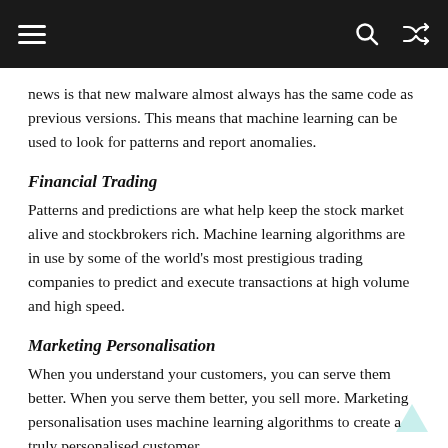≡  🔍  ⇄
news is that new malware almost always has the same code as previous versions. This means that machine learning can be used to look for patterns and report anomalies.
Financial Trading
Patterns and predictions are what help keep the stock market alive and stockbrokers rich. Machine learning algorithms are in use by some of the world's most prestigious trading companies to predict and execute transactions at high volume and high speed.
Marketing Personalisation
When you understand your customers, you can serve them better. When you serve them better, you sell more. Marketing personalisation uses machine learning algorithms to create a truly personalised customer